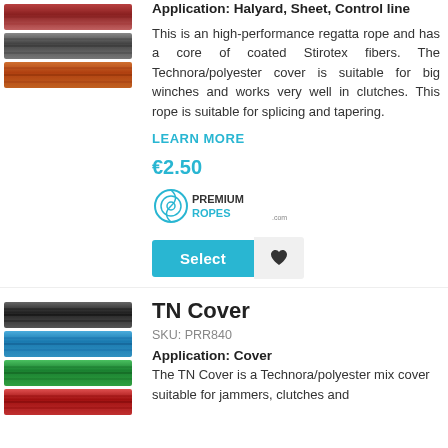[Figure (photo): Three rope texture samples: black/grey braided, black/grey braided, orange/red braided]
Application: Halyard, Sheet, Control line
This is an high-performance regatta rope and has a core of coated Stirotex fibers. The Technora/polyester cover is suitable for big winches and works very well in clutches. This rope is suitable for splicing and tapering.
LEARN MORE
€2.50
[Figure (logo): PremiumRopes.com logo with rope coil icon]
Select
[Figure (photo): Four rope texture samples: black, blue, green, red braided]
TN Cover
SKU: PRR840
Application: Cover
The TN Cover is a Technora/polyester mix cover suitable for jammers, clutches and